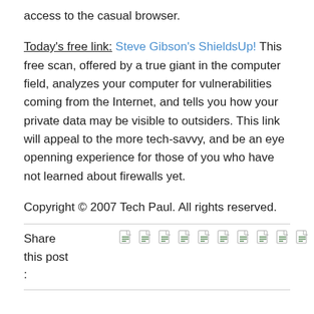access to the casual browser.
Today's free link: Steve Gibson's ShieldsUp! This free scan, offered by a true giant in the computer field, analyzes your computer for vulnerabilities coming from the Internet, and tells you how your private data may be visible to outsiders. This link will appeal to the more tech-savvy, and be an eye openning experience for those of you who have not learned about firewalls yet.
Copyright © 2007 Tech Paul. All rights reserved.
Share this post :